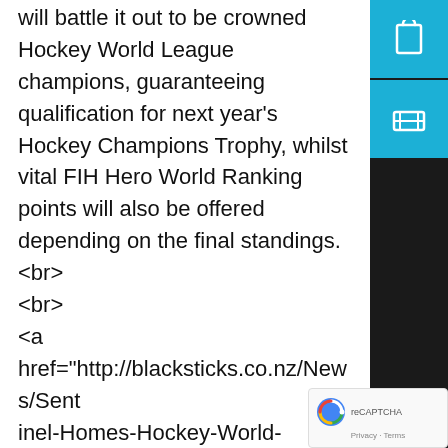will battle it out to be crowned Hockey World League champions, guaranteeing qualification for next year's Hockey Champions Trophy, whilst vital FIH Hero World Ranking points will also be offered depending on the final standings.<br>
<br>
<a href="http://blacksticks.co.nz/News/Sentinel-Homes-Hockey-World-League-Final" target="_blank"><span class="dnnTertiaryAction">CLICK HERE for more on the Sentinel Homes Hockey World League Final</span></a>&nbsp;
<br>
<br>
</p>
false